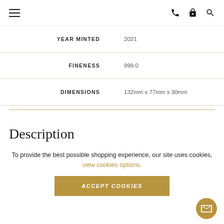Navigation bar with hamburger menu, phone, lock, and search icons
| Label | Value |
| --- | --- |
| YEAR MINTED | 2021 |
| FINENESS | 999.0 |
| DIMENSIONS | 132mm x 77mm x 30mm |
Description
This is the largest silver bar available in The Royal Mint...
To provide the best possible shopping experience, our site uses cookies, view cookies options.
ACCEPT COOKIES